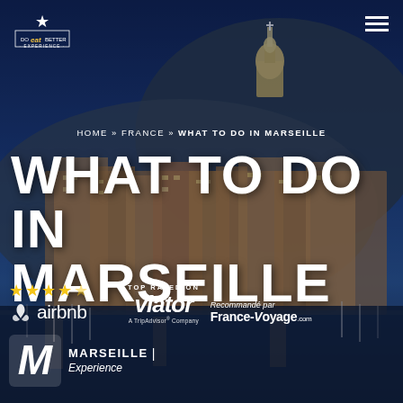[Figure (photo): Aerial/panoramic night view of Marseille harbor with Notre-Dame de la Garde basilica on hilltop, city buildings lit up at night, boats in harbor, dark blue sky]
Do eat Better Experience logo (top left) and hamburger menu (top right)
HOME » FRANCE » WHAT TO DO IN MARSEILLE
WHAT TO DO IN MARSEILLE
★★★★☆ airbnb  TOP RATED ON  viator  A TripAdvisor® Company  Recommandé par France-Voyage.com
M MARSEILLE | Experience